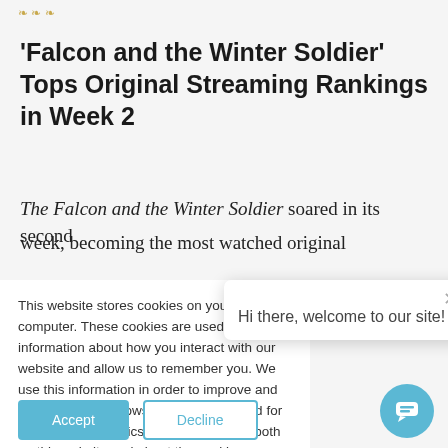'Falcon and the Winter Soldier' Tops Original Streaming Rankings in Week 2
'Falcon and the Winter Soldier' Tops Original Streaming Rankings in Week 2
The Falcon and the Winter Soldier soared in its second week, becoming the most watched original
This website stores cookies on your computer. These cookies are used to collect information about how you interact with our website and allow us to remember you. We use this information in order to improve and customize your browsing experience and for analytics and metrics about our visitors both on this website and about the cookies w...
If you choose to dec... cookie, allowing us t... preference on your next visits to our site.
Hi there, welcome to our site!